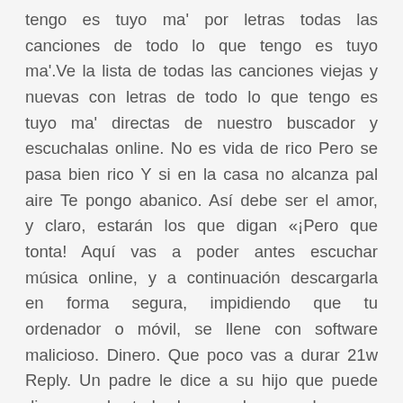tengo es tuyo ma' por letras todas las canciones de todo lo que tengo es tuyo ma'.Ve la lista de todas las canciones viejas y nuevas con letras de todo lo que tengo es tuyo ma' directas de nuestro buscador y escuchalas online. No es vida de rico Pero se pasa bien rico Y si en la casa no alcanza pal aire Te pongo abanico. Así debe ser el amor, y claro, estarán los que digan «¡Pero que tonta! Aquí vas a poder antes escuchar música online, y a continuación descargarla en forma segura, impidiendo que tu ordenador o móvil, se llene con software malicioso. Dinero. Que poco vas a durar 21w Reply. Un padre le dice a su hijo que puede disponer de todo lo que hay en la casa. Stream todo lo que tengo es tuyo.mp3 by RIGOBERTO from desktop or your mobile device todo lo que tengo es tuyo. Mi casa es tu casa Todo lo que tengo es tuyo Aquí en la tierra nosotros cantamos alegres Como en los cielos La